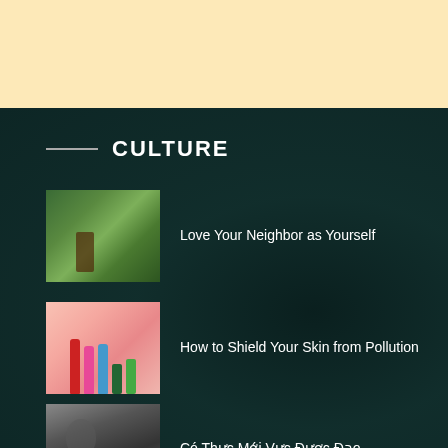[Figure (other): Light peach/cream colored banner at the top of the page]
CULTURE
[Figure (photo): Farmer working in a green rice paddy field, carrying items on a shoulder pole]
Love Your Neighbor as Yourself
[Figure (photo): Various skincare product bottles and containers arranged on a peach background]
How to Shield Your Skin from Pollution
[Figure (photo): Black and white photo of a person]
Có Thực Mới Vực Được Đạo